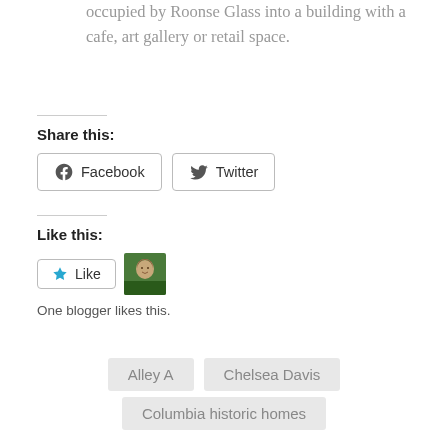occupied by Roonse Glass into a building with a cafe, art gallery or retail space.
Share this:
Facebook  Twitter
Like this:
Like  [avatar]  One blogger likes this.
Alley A
Chelsea Davis
Columbia historic homes